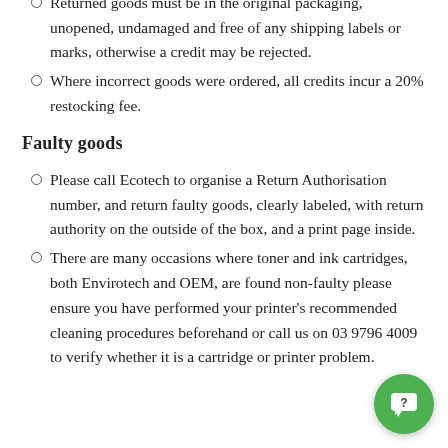Verify before organising a Return Authorisation number.
Returned goods must be in the original packaging, unopened, undamaged and free of any shipping labels or marks, otherwise a credit may be rejected.
Where incorrect goods were ordered, all credits incur a 20% restocking fee.
Faulty goods
Please call Ecotech to organise a Return Authorisation number, and return faulty goods, clearly labeled, with return authority on the outside of the box, and a print page inside.
There are many occasions where toner and ink cartridges, both Envirotech and OEM, are found non-faulty please ensure you have performed your printer's recommended cleaning procedures beforehand or call us on 03 9796 4009 to verify whether it is a cartridge or printer problem.